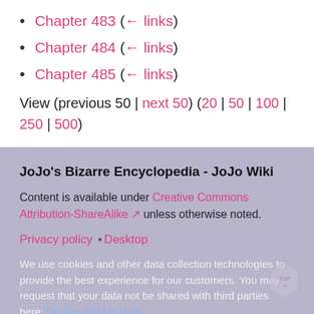Chapter 483 (← links)
Chapter 484 (← links)
Chapter 485 (← links)
View (previous 50 | next 50) (20 | 50 | 100 | 250 | 500)
JoJo's Bizarre Encyclopedia - JoJo Wiki
Content is available under Creative Commons Attribution-ShareAlike unless otherwise noted.
Privacy policy •Desktop
We use cookies and other data collection technologies to provide the best experience for our customers. You may request that your data not be shared with third parties here: Do Not Sell My Data